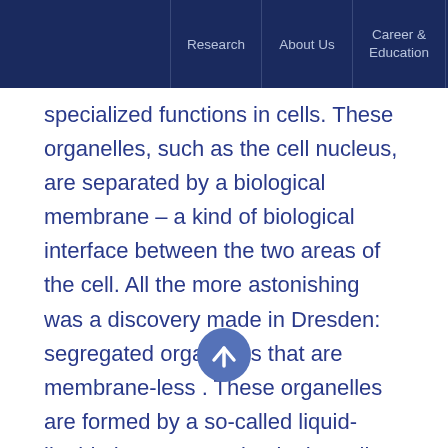Research | About Us | Career & Education | News & Events
specialized functions in cells. These organelles, such as the cell nucleus, are separated by a biological membrane – a kind of biological interface between the two areas of the cell. All the more astonishing was a discovery made in Dresden: segregated organelles that are membrane-less . These organelles are formed by a so-called liquid-liquid phase separation in the cell interior, which separate droplets from the surrounding liquid without being bound by a membrane, similar to oil droplets in water. Defects in the formation and dissolution of such segregates are associated with various diseases and thus their regulation is an important research topic. This is exactly what Dr. Ellen Adams' group will focus on. The goal to understand and target the physical properties of the interfaces and the role of